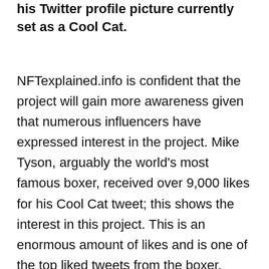his Twitter profile picture currently set as a Cool Cat.
NFTexplained.info is confident that the project will gain more awareness given that numerous influencers have expressed interest in the project. Mike Tyson, arguably the world's most famous boxer, received over 9,000 likes for his Cool Cat tweet; this shows the interest in this project. This is an enormous amount of likes and is one of the top liked tweets from the boxer.